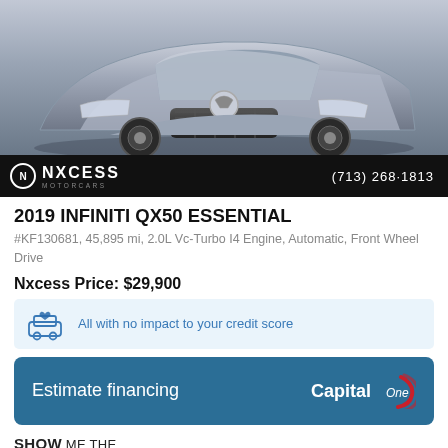[Figure (photo): Front view of a silver 2019 Infiniti QX50 SUV]
[Figure (logo): Nxcess Motorcars dealer logo and phone number (713) 268-1813 on black bar]
2019 INFINITI QX50 ESSENTIAL
#KF130681, 45,895 mi, 2.0L Vc-Turbo I4 Engine, Automatic, Front Wheel Drive
Nxcess Price: $29,900
All with no impact to your credit score
Estimate financing
[Figure (logo): Capital One logo on blue financing button]
[Figure (logo): Show Me The CARFAX logo]
View the CARFAX Report